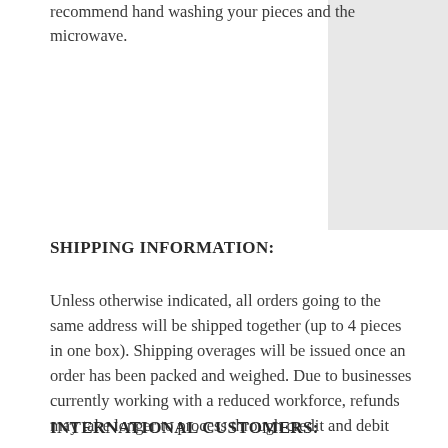recommend hand washing your pieces and the microwave.
[Figure (other): Gray rectangle image placeholder in upper right corner]
SHIPPING INFORMATION:
Unless otherwise indicated, all orders going to the same address will be shipped together (up to 4 pieces in one box). Shipping overages will be issued once an order has been packed and weighed. Due to businesses currently working with a reduced workforce, refunds may take longer to process through credit and debit processors.
INTERNATIONAL CUSTOMERS: